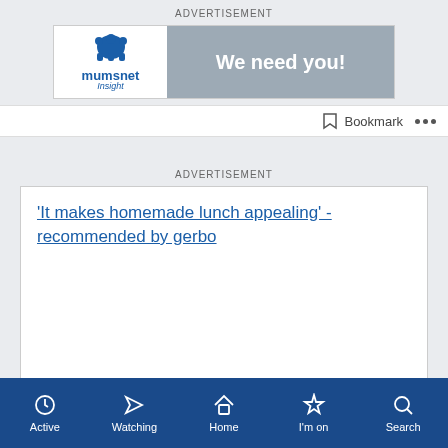ADVERTISEMENT
[Figure (infographic): Mumsnet Insight logo banner ad with text 'We need you!']
Bookmark  •••
ADVERTISEMENT
'It makes homemade lunch appealing' - recommended by gerbo
Active  Watching  Home  I'm on  Search